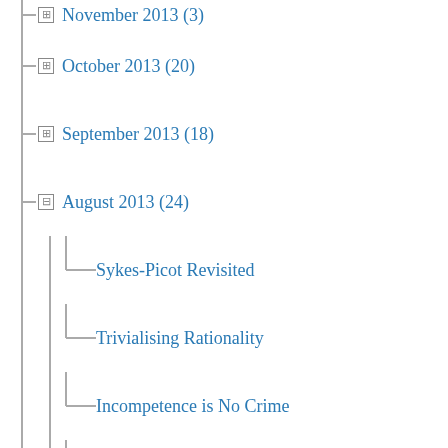November 2013 (3)
October 2013 (20)
September 2013 (18)
August 2013 (24)
Sykes-Picot Revisited
Trivialising Rationality
Incompetence is No Crime
Spy in the Cab
Nothing New Under The Sun
Losing the Plot @BHAhumanists
Benefit of the Doubt
Interest Matters @BBCR4Today @RickyG
The English Inquisition #Miranda
Interesting Complexity Blog
Getting your pants on.
Why Stop at 2?
State and Religion